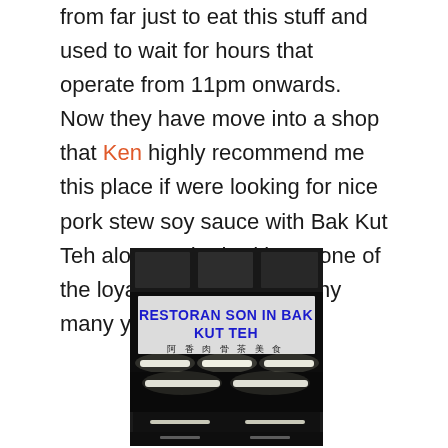from far just to eat this stuff and used to wait for hours that operate from 11pm onwards. Now they have move into a shop that Ken highly recommend me this place if were looking for nice pork stew soy sauce with Bak Kut Teh along as he had been one of the loyal customers for many many years.
[Figure (photo): Nighttime photo of 'Restoran Son In Bak Kut Teh' restaurant exterior with illuminated signboard showing the restaurant name in large blue letters and Chinese characters below, with fluorescent lights visible]